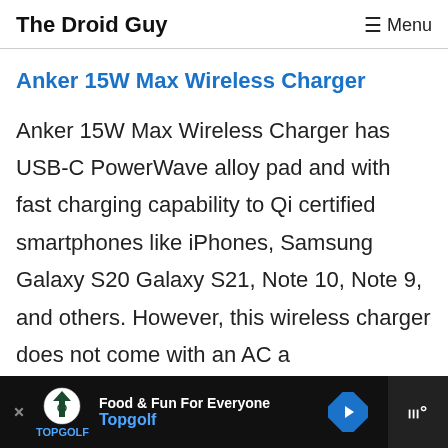The Droid Guy  ☰ Menu
Anker 15W Max Wireless Charger
Anker 15W Max Wireless Charger has USB-C PowerWave alloy pad and with fast charging capability to Qi certified smartphones like iPhones, Samsung Galaxy S20 Galaxy S21, Note 10, Note 9, and others. However, this wireless charger does not come with an AC a…
[Figure (other): Advertisement banner for Topgolf — 'Food & Fun For Everyone' with Topgolf logo, navigation arrow icon, and additional logo on right side]